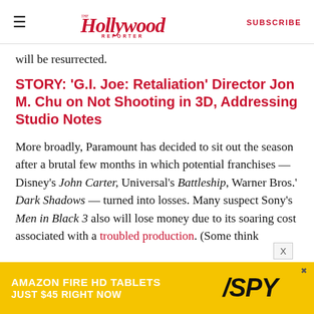The Hollywood Reporter | SUBSCRIBE
will be resurrected.
STORY: 'G.I. Joe: Retaliation' Director Jon M. Chu on Not Shooting in 3D, Addressing Studio Notes
More broadly, Paramount has decided to sit out the season after a brutal few months in which potential franchises — Disney's John Carter, Universal's Battleship, Warner Bros.' Dark Shadows — turned into losses. Many suspect Sony's Men in Black 3 also will lose money due to its soaring cost associated with a troubled production. (Some think
[Figure (other): Amazon Fire HD Tablets advertisement banner: 'AMAZON FIRE HD TABLETS JUST $45 RIGHT NOW' with SPY logo on yellow background]